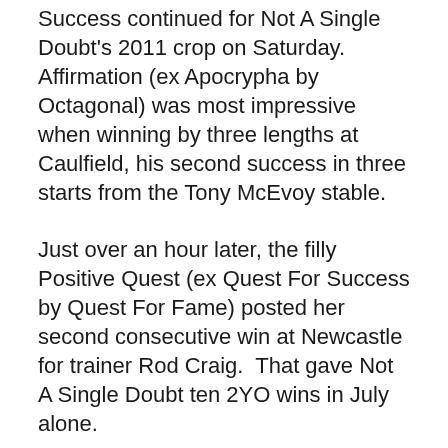Success continued for Not A Single Doubt's 2011 crop on Saturday. Affirmation (ex Apocrypha by Octagonal) was most impressive when winning by three lengths at Caulfield, his second success in three starts from the Tony McEvoy stable.
Just over an hour later, the filly Positive Quest (ex Quest For Success by Quest For Fame) posted her second consecutive win at Newcastle for trainer Rod Craig.  That gave Not A Single Doubt ten 2YO wins in July alone.
Such performance is hardly news for Not A Single Doubt, because he's had double-figure juvenile winners every season since 13 members of his first crop saluted the judge in 2008/09. His 22 lifetime stakeswinners